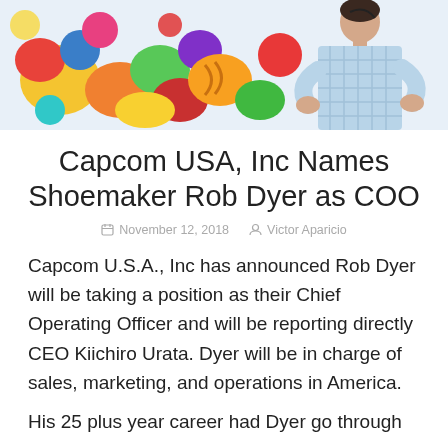[Figure (photo): Photo of Rob Dyer standing with arms crossed in front of colorful cartoon artwork background, wearing a light blue checked shirt]
Capcom USA, Inc Names Shoemaker Rob Dyer as COO
November 12, 2018  Victor Aparicio
Capcom U.S.A., Inc has announced Rob Dyer will be taking a position as their Chief Operating Officer and will be reporting directly CEO Kiichiro Urata. Dyer will be in charge of sales, marketing, and operations in America.
His 25 plus year career had Dyer go through